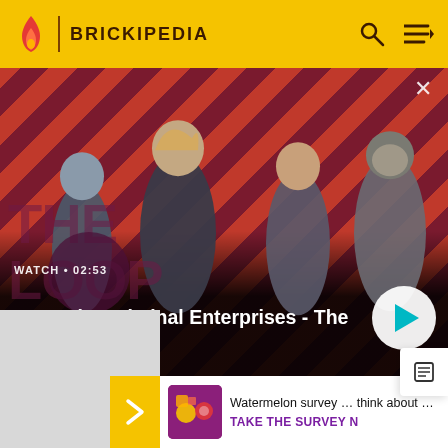BRICKIPEDIA
[Figure (screenshot): GTA: The Criminal Enterprises - The Loop video banner with striped red/dark background, four game characters, play button, watch time 02:53]
WATCH • 02:53
GTA: The Criminal Enterprises - The Loop
Watermelon survey ... think about Harry Sty
TAKE THE SURVEY N